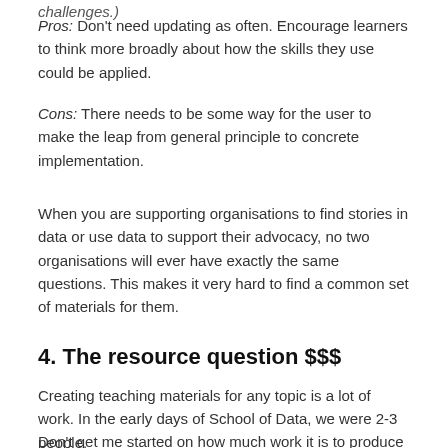challenges.)
Pros: Don't need updating as often. Encourage learners to think more broadly about how the skills they use could be applied.
Cons: There needs to be some way for the user to make the leap from general principle to concrete implementation.
When you are supporting organisations to find stories in data or use data to support their advocacy, no two organisations will ever have exactly the same questions. This makes it very hard to find a common set of materials for them.
4. The resource question $$$
Creating teaching materials for any topic is a lot of work. In the early days of School of Data, we were 2-3 people.
Don't get me started on how much work it is to produce a MOOC. We started in the early days of Coursera, well